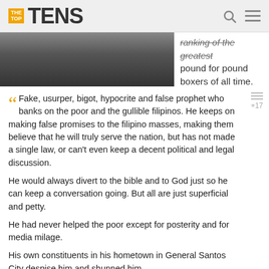THE TOP TENS
[Figure (photo): Partial view of a man's face/head on the left, and partial text on the right about ranking of the greatest pound for pound boxers of all time.]
ranking of the greatest pound for pound boxers of all time.
Fake, usurper, bigot, hypocrite and false prophet who banks on the poor and the gullible filipinos. He keeps on making false promises to the filipino masses, making them believe that he will truly serve the nation, but has not made a single law, or can't even keep a decent political and legal discussion.

He would always divert to the bible and to God just so he can keep a conversation going. But all are just superficial and petty.

He had never helped the poor except for posterity and for media milage.

His own constituents in his hometown in General Santos City despise him and shunned him.

He has billions of tax fraud cases and is a known womanizer and drug lord